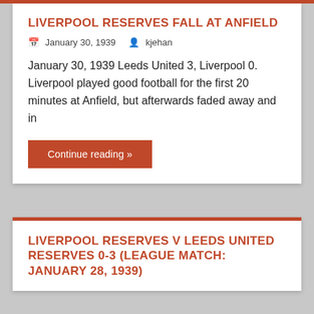LIVERPOOL RESERVES FALL AT ANFIELD
January 30, 1939   kjehan
January 30, 1939 Leeds United 3, Liverpool 0. Liverpool played good football for the first 20 minutes at Anfield, but afterwards faded away and in
Continue reading »
LIVERPOOL RESERVES V LEEDS UNITED RESERVES 0-3 (LEAGUE MATCH: JANUARY 28, 1939)